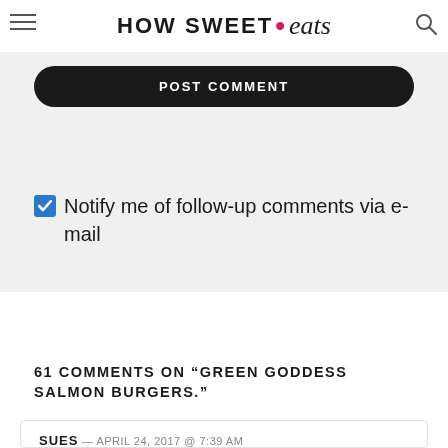HOW SWEET • eats
POST COMMENT
Notify me of follow-up comments via e-mail
61 COMMENTS ON "GREEN GODDESS SALMON BURGERS."
SUES — APRIL 24, 2017 @ 7:39 AM
Pinned and planning to make these